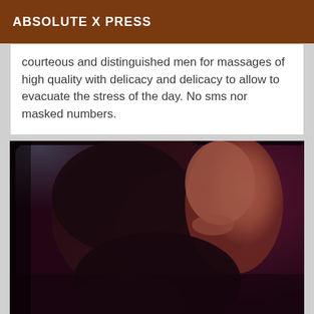ABSOLUTE X PRESS
courteous and distinguished men for massages of high quality with delicacy and delicacy to allow to evacuate the stress of the day. No sms nor masked numbers.
[Figure (photo): A woman with dark curly hair, shot from above/behind in a dark reddish-purple toned photograph, showing her back and arm raised.]